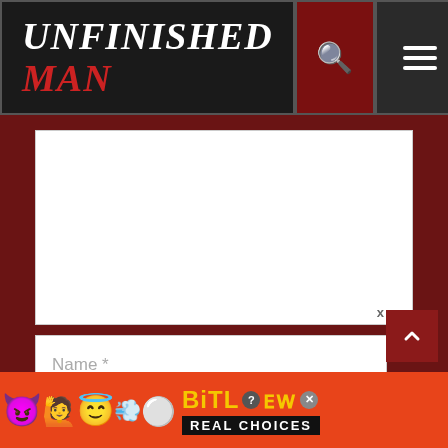UNFINISHED MAN
[Figure (screenshot): Website comment form with textarea for comment text, Name field, and Email field. Header shows 'UNFINISHED MAN' logo in white/red italic text on dark background, with search and menu icons. Bottom shows BitLife ad banner with emojis and 'REAL CHOICES' tagline.]
Name *
Email *